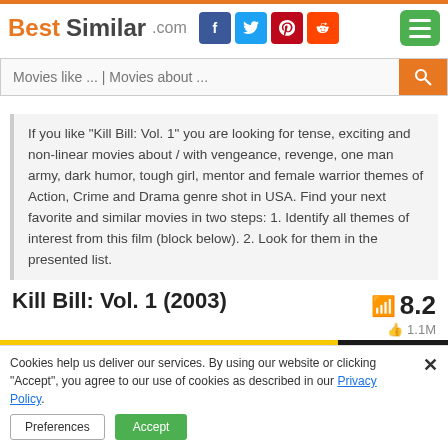[Figure (logo): BestSimilar.com logo with orange and dark text, social media icons (Facebook, Twitter, Pinterest, Reddit), and green hamburger menu button]
Movies like ... | Movies about ...
If you like "Kill Bill: Vol. 1" you are looking for tense, exciting and non-linear movies about / with vengeance, revenge, one man army, dark humor, tough girl, mentor and female warrior themes of Action, Crime and Drama genre shot in USA. Find your next favorite and similar movies in two steps: 1. Identify all themes of interest from this film (block below). 2. Look for them in the presented list.
Kill Bill: Vol. 1 (2003)
8.2  1.1M
[Figure (photo): Movie banner image with yellow and black background, partially visible figure]
Cookies help us deliver our services. By using our website or clicking "Accept", you agree to our use of cookies as described in our Privacy Policy.
Preferences  Accept